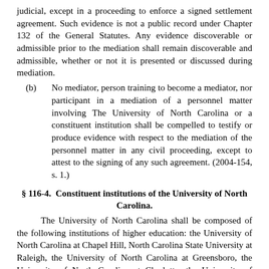judicial, except in a proceeding to enforce a signed settlement agreement. Such evidence is not a public record under Chapter 132 of the General Statutes. Any evidence discoverable or admissible prior to the mediation shall remain discoverable and admissible, whether or not it is presented or discussed during mediation.
(b) No mediator, person training to become a mediator, nor participant in a mediation of a personnel matter involving The University of North Carolina or a constituent institution shall be compelled to testify or produce evidence with respect to the mediation of the personnel matter in any civil proceeding, except to attest to the signing of any such agreement. (2004-154, s. 1.)
§ 116-4. Constituent institutions of the University of North Carolina.
The University of North Carolina shall be composed of the following institutions of higher education: the University of North Carolina at Chapel Hill, North Carolina State University at Raleigh, the University of North Carolina at Greensboro, the University of North Carolina at Charlotte, the University of North Carolina at Asheville, the University of North Carolina at Wilmington, Appalachian State University, East Carolina University, Elizabeth City State University, Fayetteville State University, North Carolina Agricultural and Technical State University, North Carolina Central University, North Carolina School of the Arts, redesignated effective August 1, 2008, as the "University of North Carolina School of the Arts," and the...